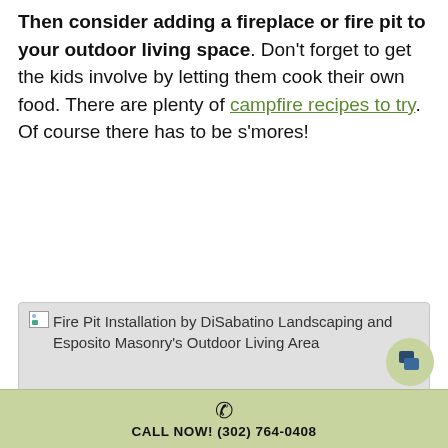Then consider adding a fireplace or fire pit to your outdoor living space. Don't forget to get the kids involve by letting them cook their own food. There are plenty of campfire recipes to try. Of course there has to be s'mores!
[Figure (photo): Broken/missing image placeholder showing 'Fire Pit Installation by DiSabatino Landscaping and Esposito Masonry's Outdoor Living Area' as alt text caption on a gray background]
CALL NOW! (302) 764-0408